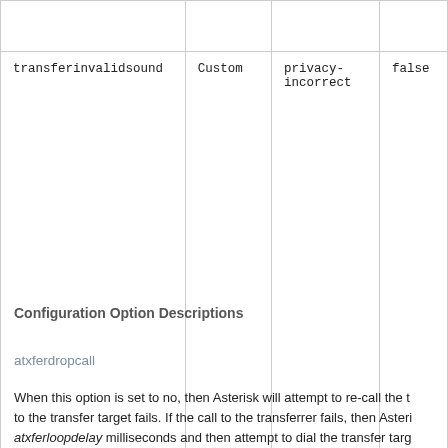|  |  |  |  |
| transferinvalidsound | Custom | privacy-incorrect | false |
Configuration Option Descriptions
atxferdropcall
When this option is set to no, then Asterisk will attempt to re-call the transferrer if the call to the transfer target fails. If the call to the transferrer fails, then Asterisk will wait atxferloopdelay milliseconds and then attempt to dial the transfer target again. This process will repeat until atxfercallbackretries attempts to re-call the transferrer have occurred.